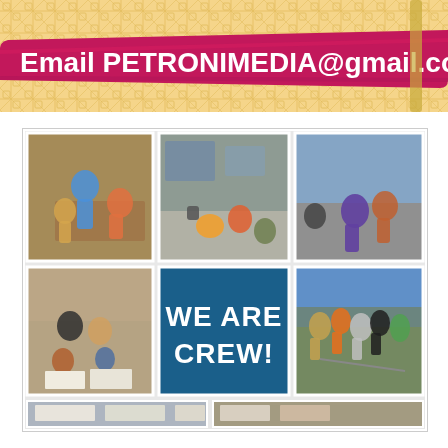[Figure (infographic): Ice cream themed promotional banner with pink ribbon overlay reading 'Email PETRONIMEDIA@gmail.com' on a waffle cone texture background]
[Figure (photo): School photo collage showing students in various classroom and outdoor activities. Center panel reads 'WE ARE CREW!' in white bold text on a teal/blue background. Photos show kids working together, playing games, and participating in school events.]